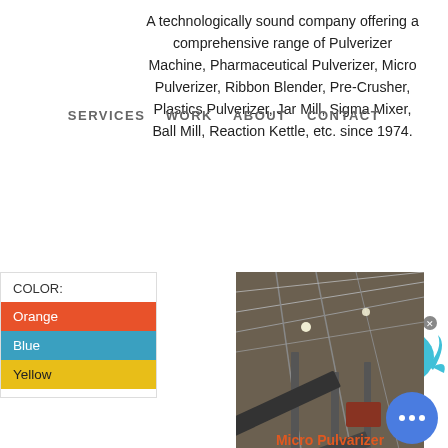A technologically sound company offering a comprehensive range of Pulverizer Machine, Pharmaceutical Pulverizer, Micro Pulverizer, Ribbon Blender, Pre-Crusher, Plastics Pulverizer, Jar Mill, Sigma Mixer, Ball Mill, Reaction Kettle, etc. since 1974.
SERVICES   WORK   ABOUT   CONTACT
[Figure (other): Live Chat button with speech bubble icon in cyan/blue]
| COLOR: |
| --- |
| Orange |
| Blue |
| Yellow |
[Figure (photo): Industrial conveyor belt system inside a large factory/warehouse with piles of material on the ground]
Micro Pulvarizer
[Figure (other): Blue circular chat/message button in bottom right corner]